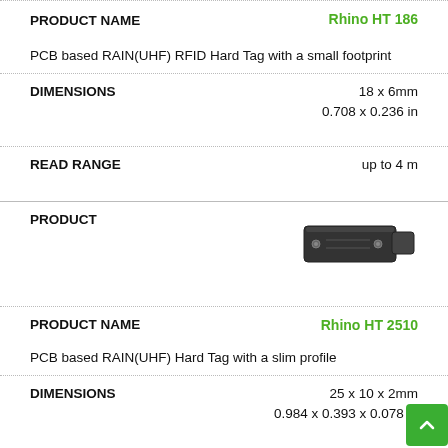PRODUCT NAME | Rhino HT 186
PCB based RAIN(UHF) RFID Hard Tag with a small footprint
DIMENSIONS | 18 x 6mm | 0.708 x 0.236 in
READ RANGE | up to 4 m
PRODUCT
[Figure (photo): Small black rectangular PCB-based RFID hard tag with visible mounting holes, shown at an angle]
PRODUCT NAME | Rhino HT 2510
PCB based RAIN(UHF) Hard Tag with a slim profile
DIMENSIONS | 25 x 10 x 2mm | 0.984 x 0.393 x 0.078 in